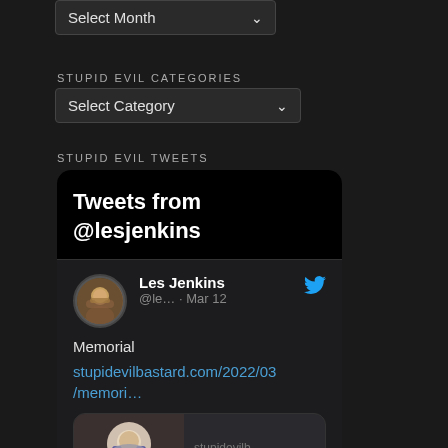[Figure (screenshot): Select Month dropdown UI element]
STUPID EVIL CATEGORIES
[Figure (screenshot): Select Category dropdown UI element]
STUPID EVIL TWEETS
[Figure (screenshot): Twitter widget showing Tweets from @lesjenkins. A tweet by Les Jenkins (@le... · Mar 12) reads: Memorial stupidevilbastard.com/2022/03/memori... with a preview card showing a bald man with glasses and tattoos and the text stupidevilb... Memorial]